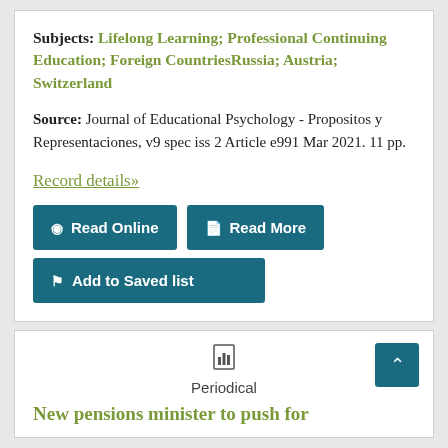Subjects: Lifelong Learning; Professional Continuing Education; Foreign CountriesRussia; Austria; Switzerland
Source: Journal of Educational Psychology - Propositos y Representaciones, v9 spec iss 2 Article e991 Mar 2021. 11 pp.
Record details»
Read Online
Read More
Add to Saved list
Periodical
New pensions minister to push for